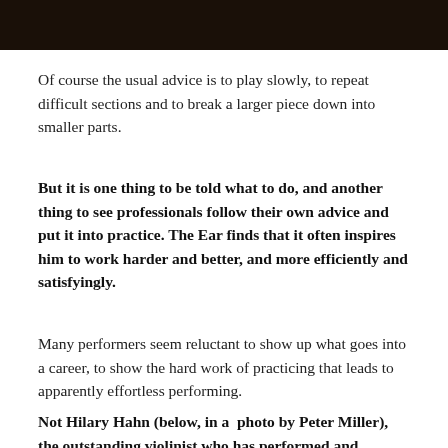[Figure (photo): Dark photograph strip at top of page, partially visible, showing a person in dim lighting]
Of course the usual advice is to play slowly, to repeat difficult sections and to break a larger piece down into smaller parts.
But it is one thing to be told what to do, and another thing to see professionals follow their own advice and put it into practice. The Ear finds that it often inspires him to work harder and better, and more efficiently and satisfyingly.
Many performers seem reluctant to show up what goes into a career, to show the hard work of practicing that leads to apparently effortless performing.
Not Hilary Hahn (below, in a photo by Peter Miller), the outstanding violinist who has performed and